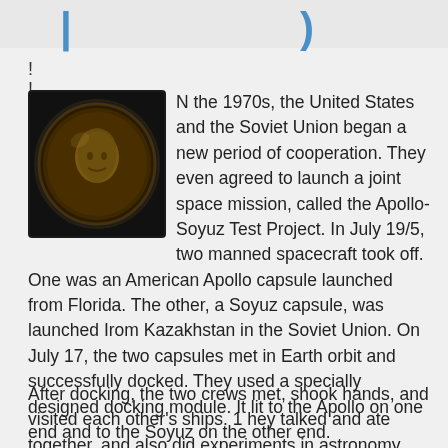| }
!
!
[Figure (photo): A circular dark coin or medallion featuring an embossed face/profile, possibly a commemorative Apollo-Soyuz medal.]
N the 1970s, the United States and the Soviet Union began a new period of cooperation. They even agreed to launch a joint space mission, called the Apollo-Soyuz Test Project. In July 19/5, two manned spacecraft took off. One was an American Apollo capsule launched from Florida. The other, a Soyuz capsule, was launched Irom Kazakhstan in the Soviet Union. On July 17, the two capsules met in Earth orbit and successfully docked. They used a specially designed docking module. It lit to the Apollo on one end and to the Soyuz on the other end.
After docking, the two crews met, shook hands, and visited each other's ships. 1 hey talked and ate together, and also did experiments in astronomy together. The spacecraft remained